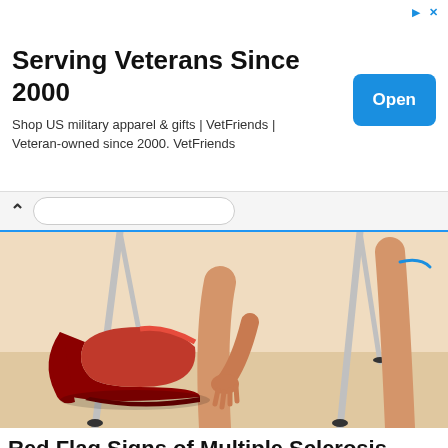[Figure (infographic): Advertisement banner: 'Serving Veterans Since 2000' with Open button]
Serving Veterans Since 2000
Shop US military apparel & gifts | VetFriends | Veteran-owned since 2000. VetFriends
[Figure (illustration): Illustration of a person's legs with crutches and a red high-heel shoe on the floor]
Red Flag Signs of Multiple Sclerosis (MS) Many May Overlook
Multiple Sclerosis (MS) | Search Ads | Sponsored
[Figure (infographic): Bottom ad: Ad badge with 'PREMIUM PUSH TRAFFIC' and woman figure, text: Get 5M Clicks Per Day]